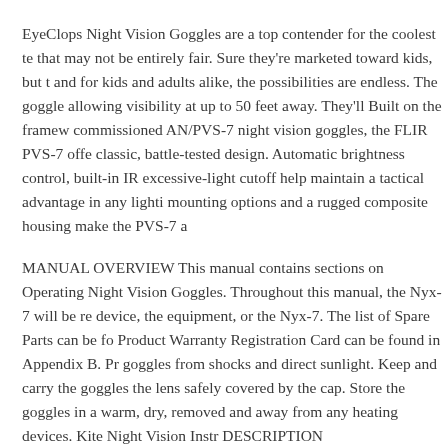EyeClops Night Vision Goggles are a top contender for the coolest te that may not be entirely fair. Sure they're marketed toward kids, but t and for kids and adults alike, the possibilities are endless. The goggle allowing visibility at up to 50 feet away. They'll Built on the framew commissioned AN/PVS-7 night vision goggles, the FLIR PVS-7 offe classic, battle-tested design. Automatic brightness control, built-in IR excessive-light cutoff help maintain a tactical advantage in any lighti mounting options and a rugged composite housing make the PVS-7 a
MANUAL OVERVIEW This manual contains sections on Operating Night Vision Goggles. Throughout this manual, the Nyx-7 will be re device, the equipment, or the Nyx-7. The list of Spare Parts can be fo Product Warranty Registration Card can be found in Appendix B. Pr goggles from shocks and direct sunlight. Keep and carry the goggles the lens safely covered by the cap. Store the goggles in a warm, dry, removed and away from any heating devices. Kite Night Vision Instr DESCRIPTION